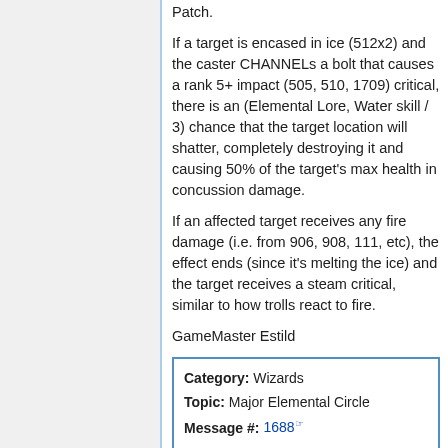Patch.
If a target is encased in ice (512x2) and the caster CHANNELs a bolt that causes a rank 5+ impact (505, 510, 1709) critical, there is an (Elemental Lore, Water skill / 3) chance that the target location will shatter, completely destroying it and causing 50% of the target's max health in concussion damage.
If an affected target receives any fire damage (i.e. from 906, 908, 111, etc), the effect ends (since it's melting the ice) and the target receives a steam critical, similar to how trolls react to fire.
GameMaster Estild
| Field | Value |
| --- | --- |
| Category: | Wizards |
| Topic: | Major Elemental Circle |
| Message #: | 1688 |